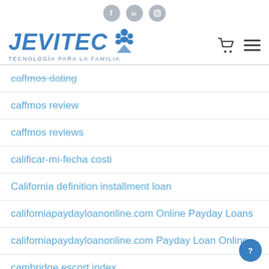[Figure (logo): Jevitec logo with social media icons (Facebook, LinkedIn, Instagram) above and cart/menu icons to the right. Logo text reads JEVITEC with tagline TECNOLOGÍA PARA LA FAMILIA]
caffmos dating
caffmos review
caffmos reviews
calificar-mi-fecha costi
California definition installment loan
californiapaydayloanonline.com Online Payday Loans
californiapaydayloanonline.com Payday Loan Online
cambridge escort index
Cams4 Anal Guys Real Porn